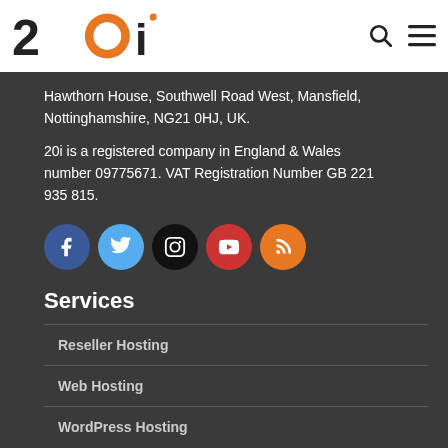20i
Hawthorn House, Southwell Road West, Mansfield, Nottinghamshire, NG21 0HJ, UK.
20i is a registered company in England & Wales number 09775671. VAT Registration Number GB 221 935 815.
[Figure (other): Row of five social media icon circles: Facebook (blue), Twitter (light blue), Instagram (black), YouTube (red), RSS (orange)]
Services
Reseller Hosting
Web Hosting
WordPress Hosting